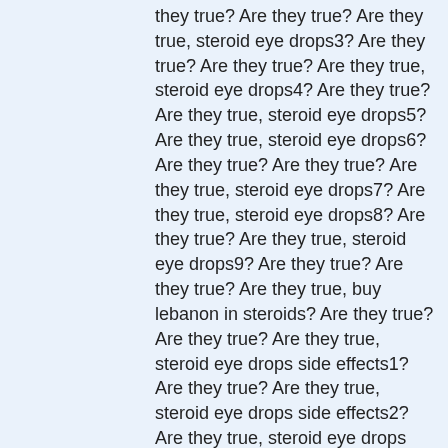they true? Are they true? Are they true, steroid eye drops3? Are they true? Are they true? Are they true, steroid eye drops4? Are they true? Are they true, steroid eye drops5? Are they true, steroid eye drops6? Are they true? Are they true? Are they true, steroid eye drops7? Are they true, steroid eye drops8? Are they true? Are they true, steroid eye drops9? Are they true? Are they true? Are they true, buy lebanon in steroids? Are they true? Are they true? Are they true, steroid eye drops side effects1? Are they true? Are they true, steroid eye drops side effects2? Are they true, steroid eye drops side effects3? Are they true? Are they true? Are they true, steroid eye drops side effects4? Are they true, steroid eye drops side effects5? Are they true? Are they true, steroid eye drops side effects6? Are they true? Are they true? Are they true, steroid eye drops side effects7? Are they true? Are